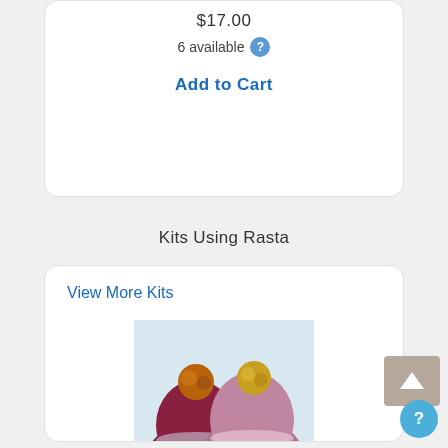$17.00
6 available
Add to Cart
Kits Using Rasta
View More Kits
[Figure (photo): Four colorful knitted pompom hats in various striped patterns displayed together]
Malabrigo Twinkling Lights Hat Kit
$49.00